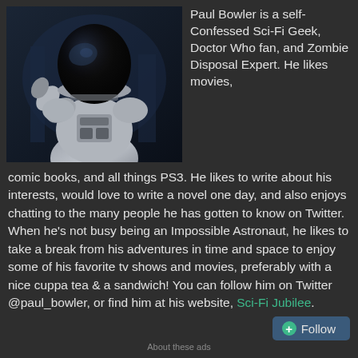[Figure (photo): An astronaut in a white spacesuit with a dark reflective visor helmet, shot from below in a dramatic dark blue/grey atmosphere]
Paul Bowler is a self-Confessed Sci-Fi Geek, Doctor Who fan, and Zombie Disposal Expert. He likes movies, comic books, and all things PS3. He likes to write about his interests, would love to write a novel one day, and also enjoys chatting to the many people he has gotten to know on Twitter. When he's not busy being an Impossible Astronaut, he likes to take a break from his adventures in time and space to enjoy some of his favorite tv shows and movies, preferably with a nice cuppa tea & a sandwich! You can follow him on Twitter @paul_bowler, or find him at his website, Sci-Fi Jubilee.